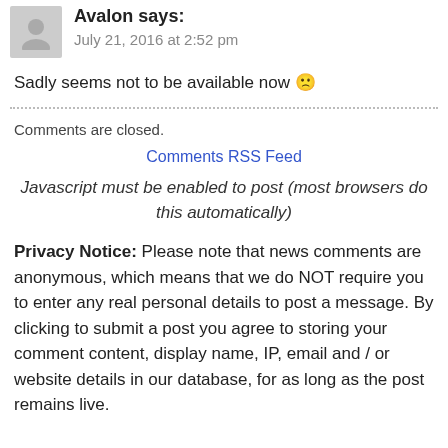Avalon says: July 21, 2016 at 2:52 pm
Sadly seems not to be available now 🙁
Comments are closed.
Comments RSS Feed
Javascript must be enabled to post (most browsers do this automatically)
Privacy Notice: Please note that news comments are anonymous, which means that we do NOT require you to enter any real personal details to post a message. By clicking to submit a post you agree to storing your comment content, display name, IP, email and / or website details in our database, for as long as the post remains live.